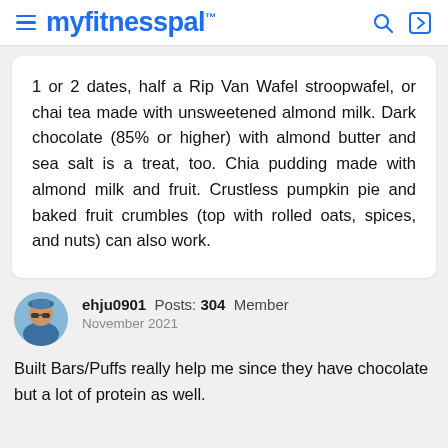myfitnesspal
1 or 2 dates, half a Rip Van Wafel stroopwafel, or chai tea made with unsweetened almond milk. Dark chocolate (85% or higher) with almond butter and sea salt is a treat, too. Chia pudding made with almond milk and fruit. Crustless pumpkin pie and baked fruit crumbles (top with rolled oats, spices, and nuts) can also work.
ehju0901  Posts: 304  Member
November 2021
Built Bars/Puffs really help me since they have chocolate but a lot of protein as well.